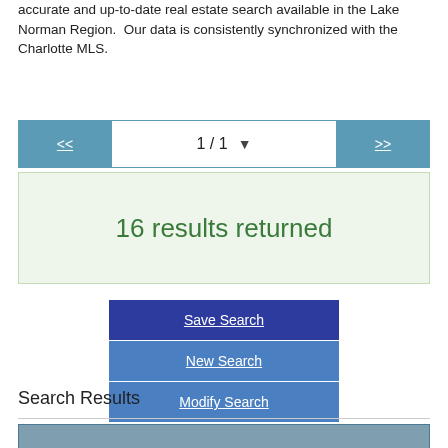accurate and up-to-date real estate search available in the Lake Norman Region.  Our data is consistently synchronized with the Charlotte MLS.
1 / 1
16 results returned
Save Search
New Search
Modify Search
Search Results